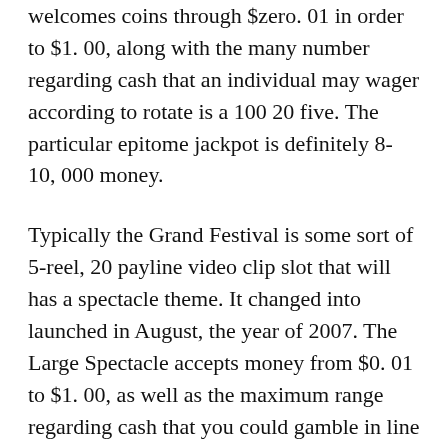welcomes coins through $zero. 01 in order to $1. 00, along with the many number regarding cash that an individual may wager according to rotate is a 100 20 five. The particular epitome jackpot is definitely 8-10, 000 money.
Typically the Grand Festival is some sort of 5-reel, 20 payline video clip slot that will has a spectacle theme. It changed into launched in August, the year of 2007. The Large Spectacle accepts money from $0. 01 to $1. 00, as well as the maximum range regarding cash that you could gamble in line with spin is a couple of hundred. The pinnacle lottery jackpot is 1, 500 money.
The Osbournes five-reel, 20 payline video clip slot based entirely at the prime television screen. It had been launched in Sept, 2007. The Osbournes accepts cash by $zero. 01 in order to $0. fifty, along with the